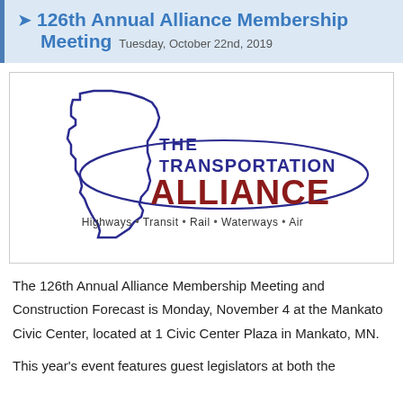126th Annual Alliance Membership Meeting  Tuesday, October 22nd, 2019
[Figure (logo): The Transportation Alliance logo with outline of Minnesota state, blue swoosh, red ALLIANCE text, and tagline: Highways • Transit • Rail • Waterways • Air]
The 126th Annual Alliance Membership Meeting and Construction Forecast is Monday, November 4 at the Mankato Civic Center, located at 1 Civic Center Plaza in Mankato, MN.
This year's event features guest legislators at both the